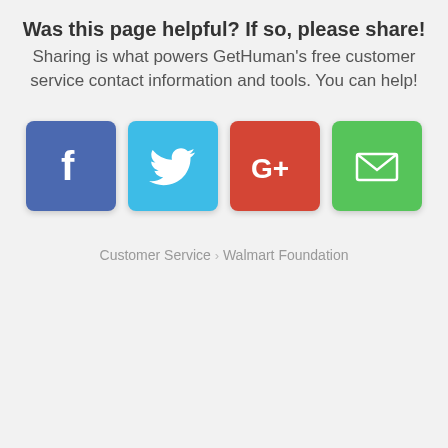Was this page helpful? If so, please share!
Sharing is what powers GetHuman's free customer service contact information and tools. You can help!
[Figure (infographic): Four social sharing buttons: Facebook (blue), Twitter (cyan), Google+ (red), Email (green), each as a rounded square icon]
Customer Service › Walmart Foundation